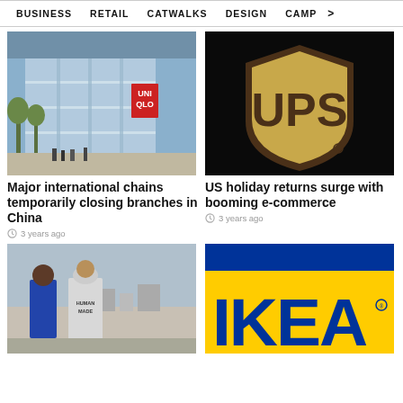BUSINESS   RETAIL   CATWALKS   DESIGN   CAMP >
[Figure (photo): Uniqlo store exterior, large modern glass building with red Uniqlo sign]
Major international chains temporarily closing branches in China
3 years ago
[Figure (photo): UPS logo close-up on dark background, gold and brown shield logo]
US holiday returns surge with booming e-commerce
3 years ago
[Figure (photo): Two men in streetwear, one wearing Human Made hoodie, city skyline in background]
[Figure (photo): IKEA logo close-up, blue and yellow branding on dark background]